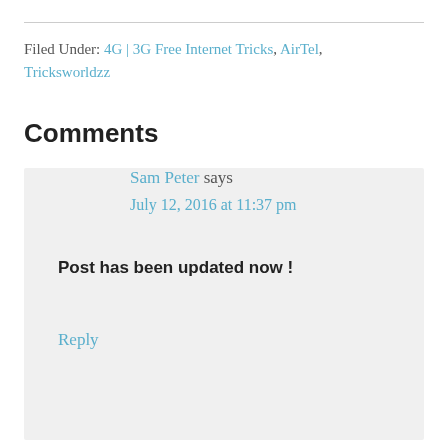Filed Under: 4G | 3G Free Internet Tricks, AirTel, Tricksworldzz
Comments
Sam Peter says
July 12, 2016 at 11:37 pm
Post has been updated now !
Reply